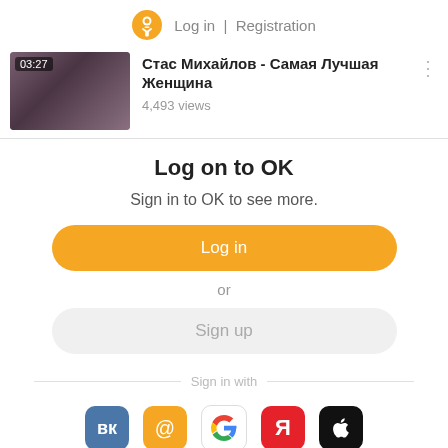Log in | Registration
[Figure (screenshot): Video thumbnail showing a woman with long hair, duration 03:27]
Стас Михайлов - Самая Лучшая Женщина
4,493 views
Log on to OK
Sign in to OK to see more.
Log in
or
Sign up
Sign in with
[Figure (logo): Social login icons: VK, Mail.ru, Google, Yandex, Apple]